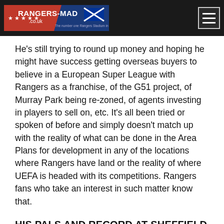RANGERS-MAD.co.uk
He's still trying to round up money and hoping he might have success getting overseas buyers to believe in a European Super League with Rangers as a franchise, of the G51 project, of Murray Park being re-zoned, of agents investing in players to sell on, etc. It's all been tried or spoken of before and simply doesn't match up with the reality of what can be done in the Area Plans for development in any of the locations where Rangers have land or the reality of where UEFA is headed with its competitions. Rangers fans who take an interest in such matter know that.
HIS PALS AND RECORD AT SHEFFIELD UNITED
Green goes on at great length about his pal Freddy Shepherd and how Freddy could put in £20million on his